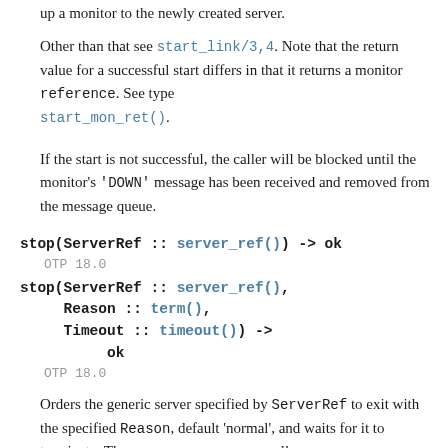up a monitor to the newly created server.
Other than that see start_link/3,4. Note that the return value for a successful start differs in that it returns a monitor reference. See type start_mon_ret().
If the start is not successful, the caller will be blocked until the monitor's 'DOWN' message has been received and removed from the message queue.
stop(ServerRef :: server_ref()) -> ok
OTP 18.0
stop(ServerRef :: server_ref(),
     Reason :: term(),
     Timeout :: timeout()) ->
          ok
OTP 18.0
Orders the generic server specified by ServerRef to exit with the specified Reason, default 'normal', and waits for it to terminate. The gen_server process calls Module:terminate/2 before exiting.